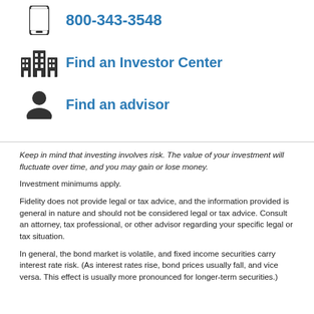800-343-3548
Find an Investor Center
Find an advisor
Keep in mind that investing involves risk. The value of your investment will fluctuate over time, and you may gain or lose money.
Investment minimums apply.
Fidelity does not provide legal or tax advice, and the information provided is general in nature and should not be considered legal or tax advice. Consult an attorney, tax professional, or other advisor regarding your specific legal or tax situation.
In general, the bond market is volatile, and fixed income securities carry interest rate risk. (As interest rates rise, bond prices usually fall, and vice versa. This effect is usually more pronounced for longer-term securities.)